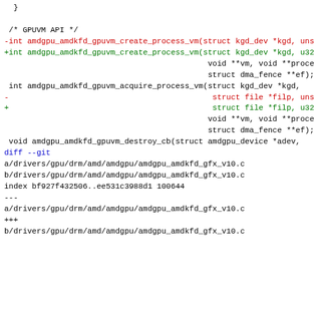Code diff showing GPUVM API changes and git diff headers for amdgpu_amdkfd_gfx_v10.c